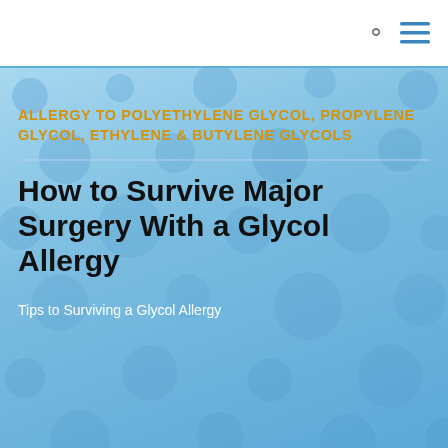ALLERGY TO POLYETHYLENE GLYCOL, PROPYLENE GLYCOL, ETHYLENE & BUTYLENE GLYCOLS
How to Survive Major Surgery With a Glycol Allergy
Tips to Surviving a Glycol Allergy